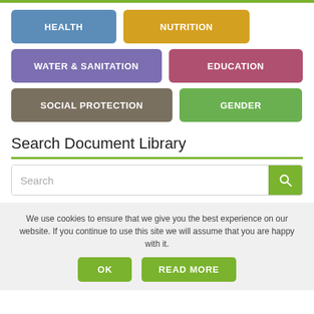[Figure (infographic): Six colored category buttons: HEALTH (blue), NUTRITION (amber), WATER & SANITATION (purple), EDUCATION (rose), SOCIAL PROTECTION (gray-brown), GENDER (green)]
Search Document Library
[Figure (infographic): Search input box with green search button (magnifying glass icon)]
We use cookies to ensure that we give you the best experience on our website. If you continue to use this site we will assume that you are happy with it.
OK
READ MORE